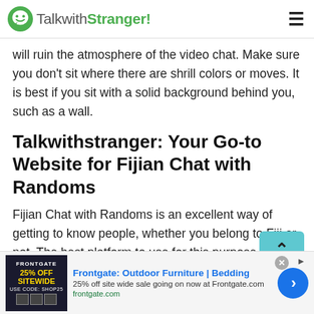TalkwithStranger!
will ruin the atmosphere of the video chat. Make sure you don't sit where there are shrill colors or moves. It is best if you sit with a solid background behind you, such as a wall.
Talkwithstranger: Your Go-to Website for Fijian Chat with Randoms
Fijian Chat with Randoms is an excellent way of getting to know people, whether you belong to Fiji or not. The best platform to use for this purpose is undoubtedly
[Figure (screenshot): Advertisement banner for Frontgate: Outdoor Furniture | Bedding with 25% off sitewide sale, showing product image and blue arrow button]